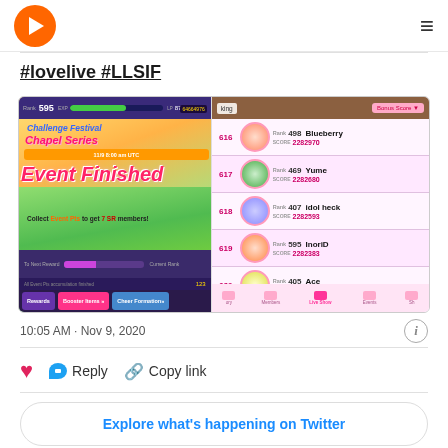[Figure (screenshot): App navigation bar with orange circular logo (play button) on left and hamburger menu on right]
#lovelive #LLSIF
[Figure (screenshot): Two mobile game screenshots side by side. Left: Love Live School Idol Festival game showing Challenge Festival Chapel Series event with 'Event Finished' screen, Rank 595, and bottom buttons (Rewards, Booster Items, Cheer Formation). Right: Ranking leaderboard showing entries 616-620 with player names Blueberry (Rank 498, Score 2282970), Yume (Rank 469, Score 2282680), idol heck (Rank 407, Score 2282593), InoriD (Rank 595, Score 2282383), Ace (Rank 405, Score 2281670), with bottom navigation bar showing Members, Live Show, Events, Shop tabs.]
10:05 AM · Nov 9, 2020
[Figure (other): Info icon (circle with i)]
Reply
Copy link
Explore what's happening on Twitter